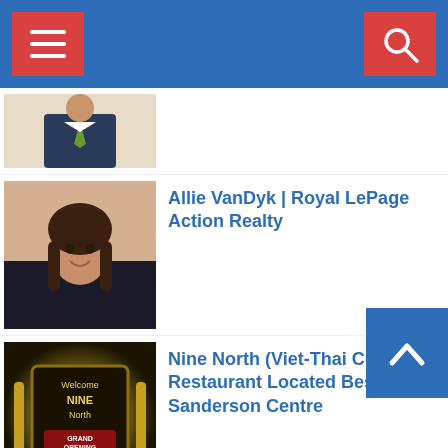[Figure (screenshot): Navigation bar with hamburger menu on left and search icon on right, blue background with red icon buttons]
(partial item - person in suit)
Allie VanDyk | Royal LePage Action Realty
Nine North (Viet-Thai Cuisine) | Restaurant Located Beside Sanderson Centre
Homes for Sale in Brantford | Royal LePage Action Realty
Homes for Sale in Paris | Royal LePage Action Realty